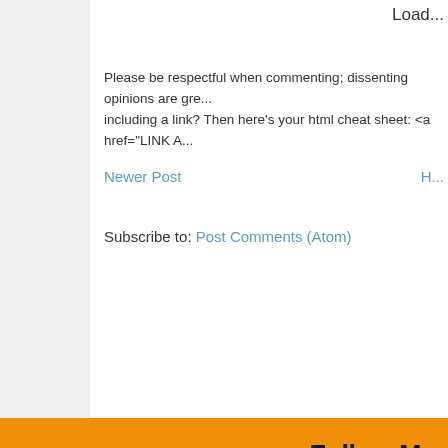Load...
Please be respectful when commenting; dissenting opinions are gre... including a link? Then here's your html cheat sheet: <a href="LINK A...
Newer Post
H...
Subscribe to: Post Comments (Atom)
Follow Me:
Cop...
Endorsement Disclosure: As an Amazon Associate I e...
[Figure (logo): SHE Media Collective HOME + DIY logo with play button]
Learn More | Privacy
[Figure (infographic): SHE Partner Network teal advertisement banner - Earning site & social revenue, Traffic growth, LEARN MORE button]